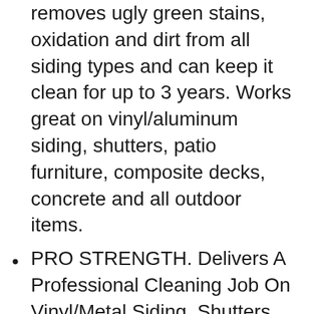removes ugly green stains, oxidation and dirt from all siding types and can keep it clean for up to 3 years. Works great on vinyl/aluminum siding, shutters, patio furniture, composite decks, concrete and all outdoor items.
PRO STRENGTH. Delivers A Professional Cleaning Job On Vinyl/Metal Siding, Shutters, Garage Doors, Decks, Patio Furniture, Outdoor Fabrics And More.
REMOVES OXIDATION And Chalkiness From Your Vinyl or Aluminum Siding And Shutters.
NON-TOXIC. Zero Bleach And Zero VOC. Not Only Is Bleach Toxic, It